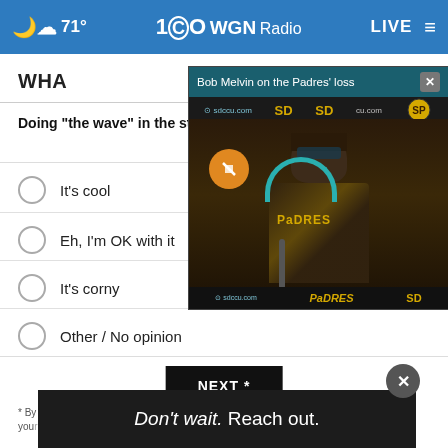71° WGN Radio LIVE
WHA
Doing "the wave" in the st... corny?
It's cool
Eh, I'm OK with it
It's corny
Other / No opinion
NEXT *
* By clicking "NEXT" you agree to the following: We use cookies... k your... e rea...
[Figure (screenshot): Video overlay showing Bob Melvin on the Padres' loss press conference, with Padres branded backdrop showing sdccu.com logos]
[Figure (photo): Ad banner: Don't wait. Reach out. showing a person in a dark setting]